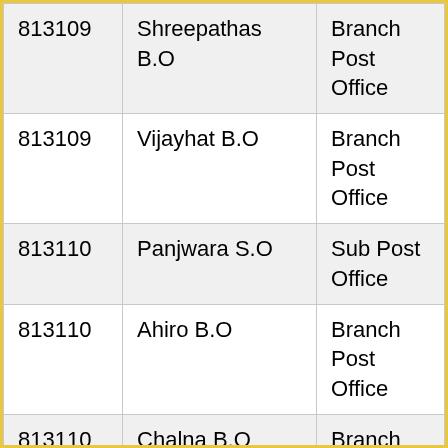| 813109 | Shreepathas B.O | Branch Post Office |
| 813109 | Vijayhat B.O | Branch Post Office |
| 813110 | Panjwara S.O | Sub Post Office |
| 813110 | Ahiro B.O | Branch Post Office |
| 813110 | Chalna B.O | Branch Post Office |